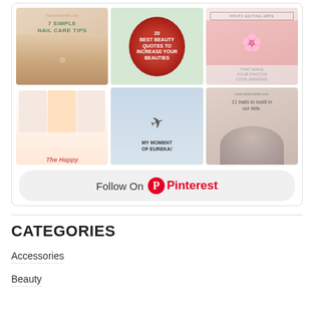[Figure (screenshot): Pinterest widget showing a 3x2 grid of pin images including nail care, beauty quotes, photo editing apps, a planner, an acrobatic pose with 'My Moment of Eureka', and a mother with child. Below the grid is a 'Follow On Pinterest' button.]
Follow On Pinterest
CATEGORIES
Accessories
Beauty